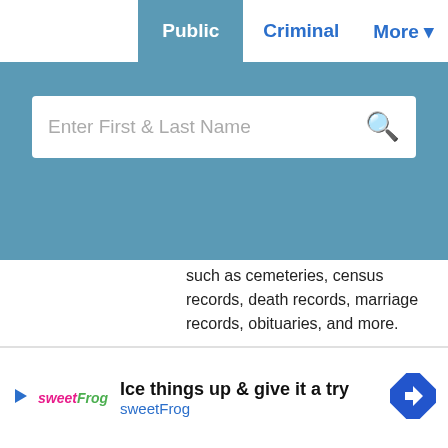Public  Criminal  More
[Figure (screenshot): Search bar with placeholder text 'Enter First & Last Name' and magnifying glass icon on teal/blue background]
such as cemeteries, census records, death records, marriage records, obituaries, and more.
Free Search
Kansas County Maps
View Kansas Department of Transportation county road maps by county through GIS maps.
[Figure (screenshot): Advertisement for sweetFrog: 'Ice things up & give it a try' with sweetFrog logo and navigation icon]